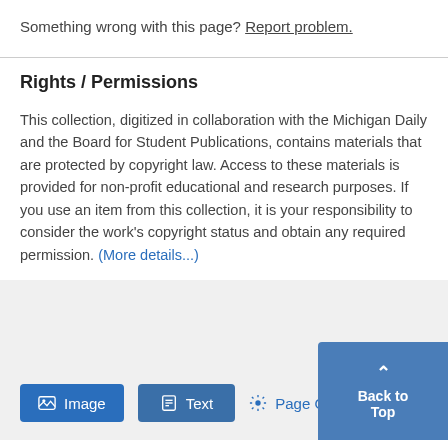Something wrong with this page? Report problem.
Rights / Permissions
This collection, digitized in collaboration with the Michigan Daily and the Board for Student Publications, contains materials that are protected by copyright law. Access to these materials is provided for non-profit educational and research purposes. If you use an item from this collection, it is your responsibility to consider the work's copyright status and obtain any required permission. (More details...)
Image  Text  Page Options  Back to Top